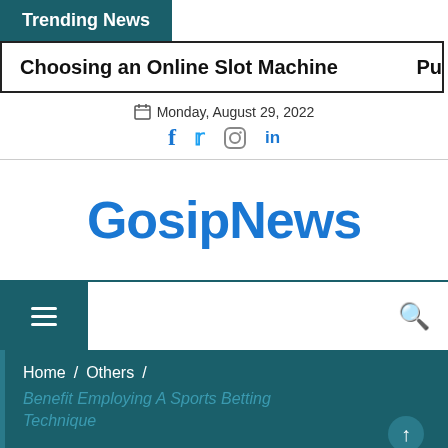Trending News
Choosing an Online Slot Machine   Pu
Monday, August 29, 2022
[Figure (logo): GosipNews website logo in blue bold text]
Home / Others / Benefit Employing A Sports Betting Technique